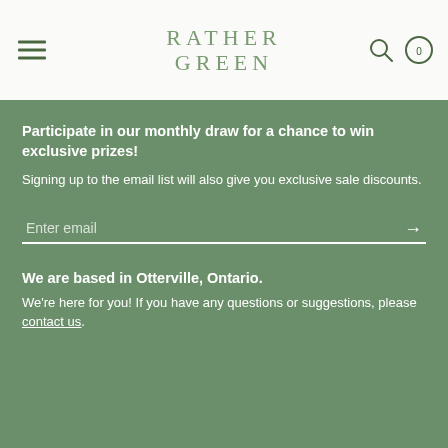Rather Green — navigation header with hamburger menu, logo, search and cart icons
Participate in our monthly draw for a chance to win exclusive prizes!
Signing up to the email list will also give you exclusive sale discounts.
Enter email
We are based in Otterville, Ontario.
We're here for you! If you have any questions or suggestions, please contact us.